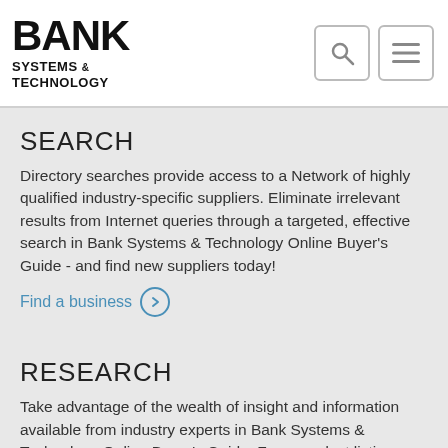BANK SYSTEMS & TECHNOLOGY
SEARCH
Directory searches provide access to a Network of highly qualified industry-specific suppliers. Eliminate irrelevant results from Internet queries through a targeted, effective search in Bank Systems & Technology Online Buyer's Guide - and find new suppliers today!
Find a business
RESEARCH
Take advantage of the wealth of insight and information available from industry experts in Bank Systems & Technology Online Buyer's Guide. From product listings with links to vendor product pages to free white papers and press release downloads